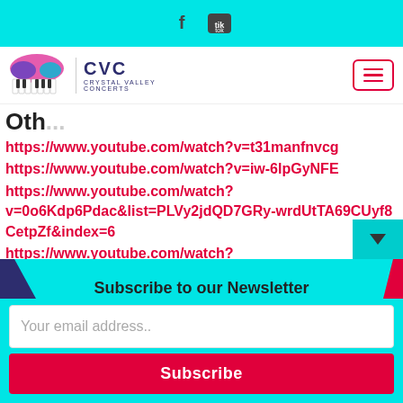Social media icons (Facebook, TikTok) on cyan bar
[Figure (logo): Crystal Valley Concerts (CVC) logo with hamburger menu icon]
Oth...
https://www.youtube.com/watch?v=t31manfnvcg
https://www.youtube.com/watch?v=iw-6lpGyNFE
https://www.youtube.com/watch?v=0o6Kdp6Pdac&list=PLVy2jdQD7GRy-wrdUtTA69CUyf8CetpZf&index=6
https://www.youtube.com/watch?v=GuZZjsYeOHM&list=PLVy2jdQD7GRy-wrdUtTA69CUyf8CetpZf&index=9
Subscribe to our Newsletter
Your email address..
Subscribe